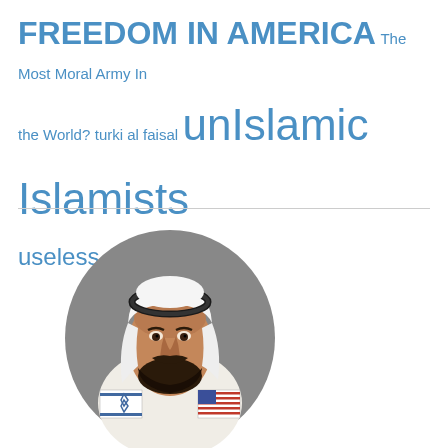FREEDOM IN AMERICA The Most Moral Army In the World? turki al faisal unIslamic Islamists useless eaters
[Figure (illustration): Caricature illustration of a man in Arab headdress (keffiyeh and agal) wearing robes that display an Israeli flag and an American flag motif, set against a grey oval background.]